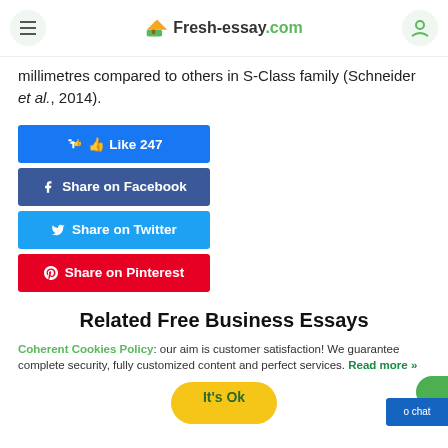Fresh-essay.com
millimetres compared to others in S-Class family (Schneider et al., 2014).
[Figure (infographic): Social sharing buttons: Like 247 (blue), Share on Facebook (dark blue), Share on Twitter (light blue), Share on Pinterest (red)]
Related Free Business Essays
Coherent Cookies Policy: our aim is customer satisfaction! We guarantee complete security, fully customized content and perfect services. Read more »
[Figure (other): It's Ok button (yellow/green) and chat bubble (blue) with green circle]